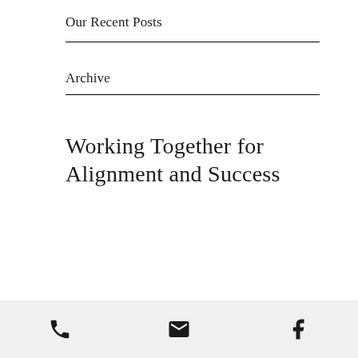Our Recent Posts
Archive
Working Together for Alignment and Success
[phone icon] [email icon] [facebook icon]